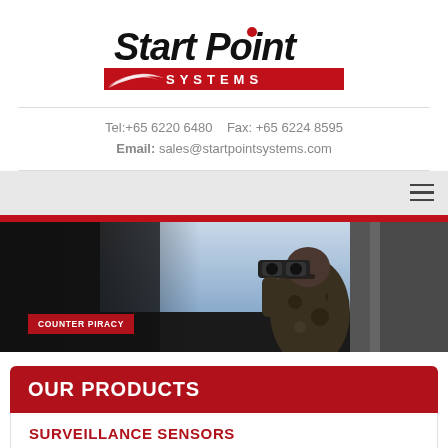[Figure (logo): Start Point Systems logo with stylized red swoosh and bold italic text]
Tel:+65 6220 6480   Fax: +65 6224 8595
Email: sales@startpointsystems.com
[Figure (photo): Person in camouflage uniform looking through binoculars, hero banner image with COUNTER PIRACY label]
OUR PRODUCTS
SURVEILLANCE SENSORS